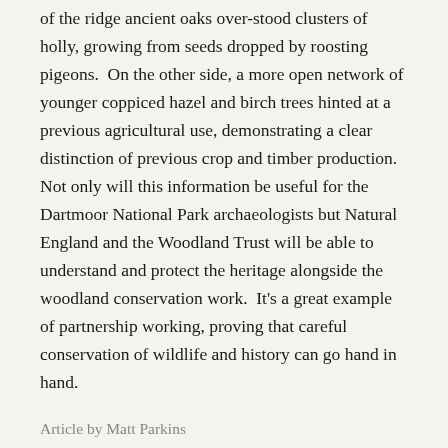of the ridge ancient oaks over-stood clusters of holly, growing from seeds dropped by roosting pigeons.  On the other side, a more open network of younger coppiced hazel and birch trees hinted at a previous agricultural use, demonstrating a clear distinction of previous crop and timber production.  Not only will this information be useful for the Dartmoor National Park archaeologists but Natural England and the Woodland Trust will be able to understand and protect the heritage alongside the woodland conservation work.  It's a great example of partnership working, proving that careful conservation of wildlife and history can go hand in hand.
Article by Matt Parkins